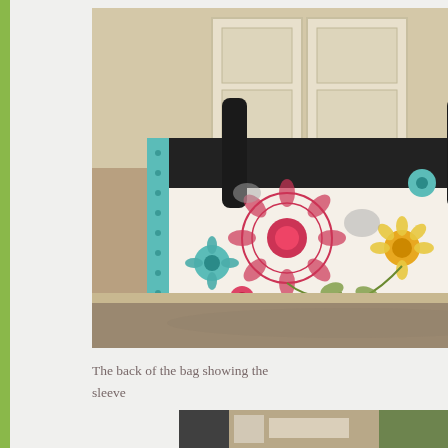[Figure (photo): Photo of the back of a floral fabric bag with black handles and a teal floral strap, sitting on a surface with kitchen cabinets visible in the background.]
The back of the bag showing the sleeve
[Figure (photo): Partial photo of another scene, bottom of page, partially cropped.]